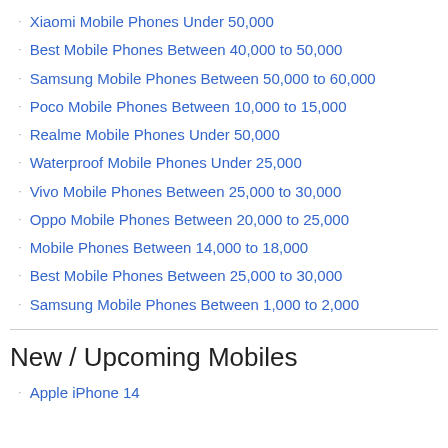Xiaomi Mobile Phones Under 50,000
Best Mobile Phones Between 40,000 to 50,000
Samsung Mobile Phones Between 50,000 to 60,000
Poco Mobile Phones Between 10,000 to 15,000
Realme Mobile Phones Under 50,000
Waterproof Mobile Phones Under 25,000
Vivo Mobile Phones Between 25,000 to 30,000
Oppo Mobile Phones Between 20,000 to 25,000
Mobile Phones Between 14,000 to 18,000
Best Mobile Phones Between 25,000 to 30,000
Samsung Mobile Phones Between 1,000 to 2,000
New / Upcoming Mobiles
Apple iPhone 14